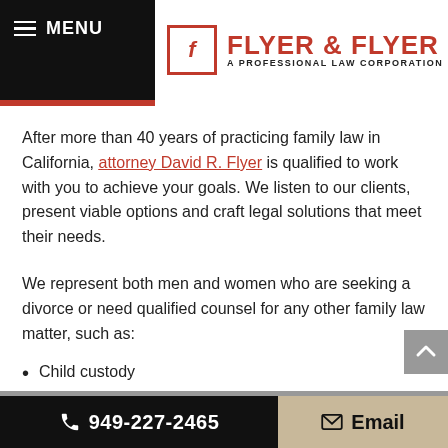[Figure (logo): Flyer & Flyer A Professional Law Corporation logo with red F icon and red company name]
After more than 40 years of practicing family law in California, attorney David R. Flyer is qualified to work with you to achieve your goals. We listen to our clients, present viable options and craft legal solutions that meet their needs.
We represent both men and women who are seeking a divorce or need qualified counsel for any other family law matter, such as:
Child custody
949-227-2465   Email